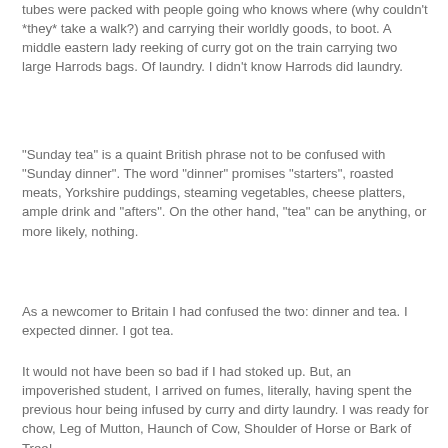tubes were packed with people going who knows where (why couldn't *they* take a walk?) and carrying their worldly goods, to boot. A middle eastern lady reeking of curry got on the train carrying two large Harrods bags. Of laundry. I didn't know Harrods did laundry.
"Sunday tea" is a quaint British phrase not to be confused with "Sunday dinner". The word "dinner" promises "starters", roasted meats, Yorkshire puddings, steaming vegetables, cheese platters, ample drink and "afters". On the other hand, "tea" can be anything, or more likely, nothing.
As a newcomer to Britain I had confused the two: dinner and tea. I expected dinner. I got tea.
It would not have been so bad if I had stoked up. But, an impoverished student, I arrived on fumes, literally, having spent the previous hour being infused by curry and dirty laundry. I was ready for chow, Leg of Mutton, Haunch of Cow, Shoulder of Horse or Bark of Tree!